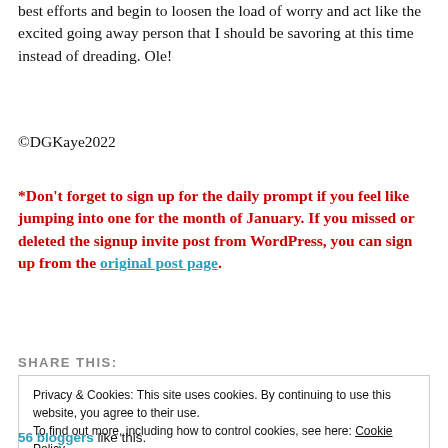best efforts and begin to loosen the load of worry and act like the excited going away person that I should be savoring at this time instead of dreading. Ole!
©DGKaye2022
*Don't forget to sign up for the daily prompt if you feel like jumping into one for the month of January. If you missed or deleted the signup invite post from WordPress, you can sign up from the original post page.
SHARE THIS:
Privacy & Cookies: This site uses cookies. By continuing to use this website, you agree to their use. To find out more, including how to control cookies, see here: Cookie Policy
56 bloggers like this.